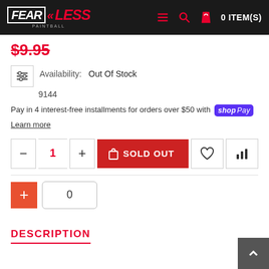FEARLESS PAINTBALL — 0 ITEM(S)
$9.95
Availability: Out Of Stock
9144
Pay in 4 interest-free installments for orders over $50 with shop Pay
Learn more
- 1 + SOLD OUT
0
DESCRIPTION